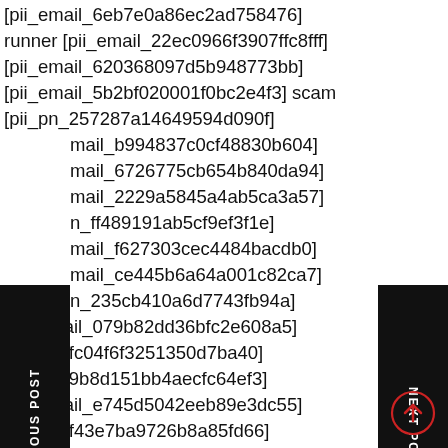[pii_email_6eb7e0a86ec2ad758476]
runner [pii_email_22ec0966f3907ffc8fff]
[pii_email_620368097d5b948773bb]
[pii_email_5b2bf020001f0bc2e4f3] scam
[pii_pn_257287a14649594d090f]
[pii_email_b994837c0cf48830b604]
[pii_email_6726775cb654b840da94]
[pii_email_2229a5845a4ab5ca3a57]
[pii_pn_ff489191ab5cf9ef3f1e]
[pii_email_f627303cec4484bacdb0]
[pii_email_ce445b6a64a001c82ca7]
[pii_pn_235cb410a6d7743fb94a]
[pii_email_079b82dd36bfc2e608a5]
[pii_pn_fc04f6f3251350d7ba40]
[pii_pn_9b8d151bb4aecfc64ef3]
[pii_email_e745d5042eeb89e3dc55]
[pii_pn_f43e7ba9726b8a85fd66]